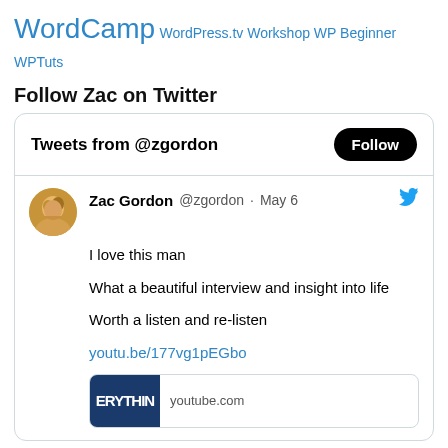WordCamp WordPress.tv Workshop WP Beginner WPTuts
Follow Zac on Twitter
[Figure (screenshot): Twitter widget showing 'Tweets from @zgordon' with a Follow button. Tweet by Zac Gordon @zgordon May 6: 'I love this man

What a beautiful interview and insight into life

Worth a listen and re-listen

youtu.be/177vg1pEGbo' with a YouTube video preview thumbnail showing 'ERYTHIN' and 'youtube.com']